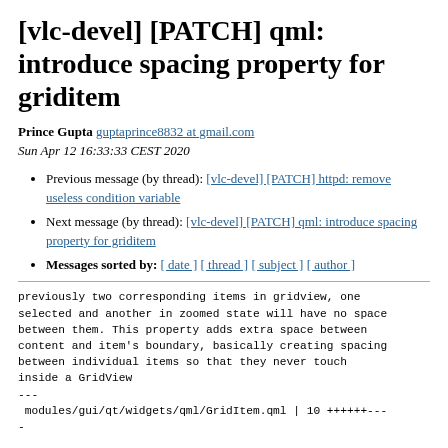[vlc-devel] [PATCH] qml: introduce spacing property for griditem
Prince Gupta guptaprince8832 at gmail.com
Sun Apr 12 16:33:33 CEST 2020
Previous message (by thread): [vlc-devel] [PATCH] httpd: remove useless condition variable
Next message (by thread): [vlc-devel] [PATCH] qml: introduce spacing property for griditem
Messages sorted by: [ date ] [ thread ] [ subject ] [ author ]
previously two corresponding items in gridview, one selected and another in zoomed state will have no space between them. This property adds extra space between content and item's boundary, basically creating spacing between individual items so that they never touch inside a GridView
---
 modules/gui/qt/widgets/qml/GridItem.qml | 10 ++++++---
-